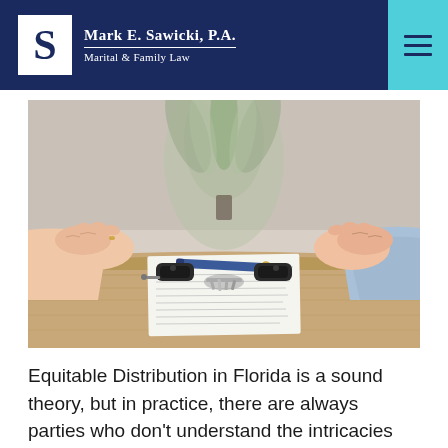Mark E. Sawicki, P.A. — Marital & Family Law
[Figure (photo): Two people sitting across a table with clasped hands. On the table between them is a document, a pen, car keys, and two car key fobs — suggesting a divorce or asset division negotiation.]
Equitable Distribution in Florida is a sound theory, but in practice, there are always parties who don't understand the intricacies considered when